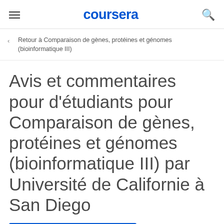coursera
Retour à Comparaison de gènes, protéines et génomes (bioinformatique III)
Avis et commentaires pour d'étudiants pour Comparaison de gènes, protéines et génomes (bioinformatique III) par Université de Californie à San Diego
S'inscrire gratuitement